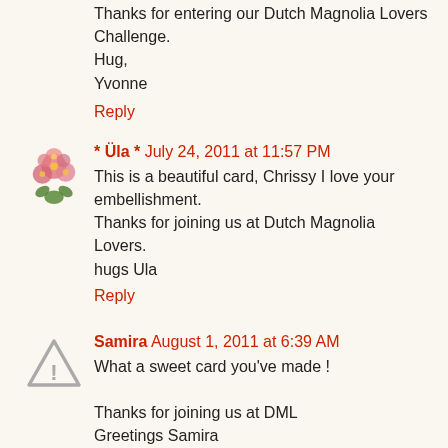Thanks for entering our Dutch Magnolia Lovers Challenge.
Hug,
Yvonne
Reply
* Üla * July 24, 2011 at 11:57 PM
This is a beautiful card, Chrissy I love your embellishment. Thanks for joining us at Dutch Magnolia Lovers.
hugs Ula
Reply
Samira August 1, 2011 at 6:39 AM
What a sweet card you've made !

Thanks for joining us at DML
Greetings Samira
Reply
To leave a comment, click the button below to sign in with